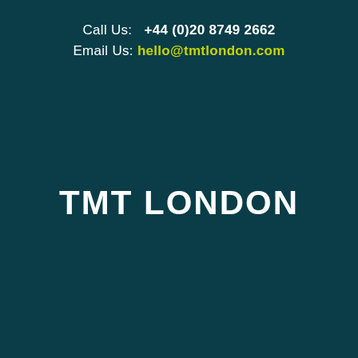Call Us:  +44 (0)20 8749 2662
Email Us: hello@tmtlondon.com
TMT LONDON